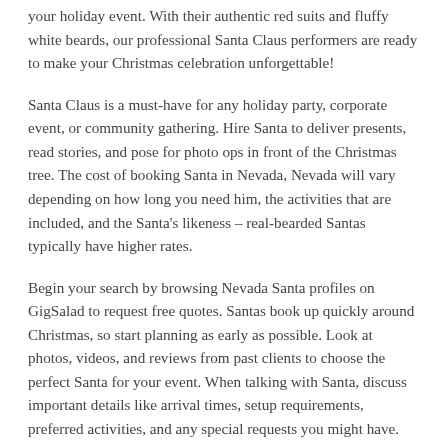your holiday event. With their authentic red suits and fluffy white beards, our professional Santa Claus performers are ready to make your Christmas celebration unforgettable!
Santa Claus is a must-have for any holiday party, corporate event, or community gathering. Hire Santa to deliver presents, read stories, and pose for photo ops in front of the Christmas tree. The cost of booking Santa in Nevada, Nevada will vary depending on how long you need him, the activities that are included, and the Santa's likeness – real-bearded Santas typically have higher rates.
Begin your search by browsing Nevada Santa profiles on GigSalad to request free quotes. Santas book up quickly around Christmas, so start planning as early as possible. Look at photos, videos, and reviews from past clients to choose the perfect Santa for your event. When talking with Santa, discuss important details like arrival times, setup requirements, preferred activities, and any special requests you might have.